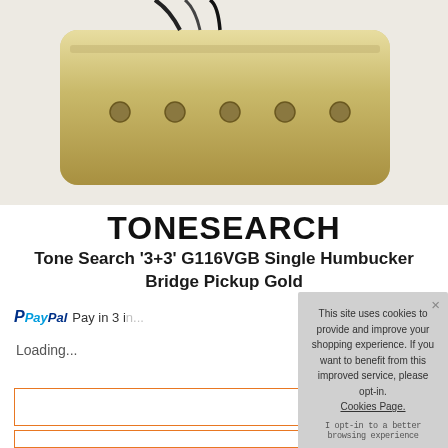[Figure (photo): Product photo of a guitar pickup (humbucker) with gold finish, partially visible against a light background]
TONESEARCH
Tone Search '3+3' G116VGB Single Humbucker Bridge Pickup Gold
PayPal Pay in 3 i...
Loading...
This site uses cookies to provide and improve your shopping experience. If you want to benefit from this improved service, please opt-in. Cookies Page.
I opt-in to a better browsing experience
ACCEPT COOKIES